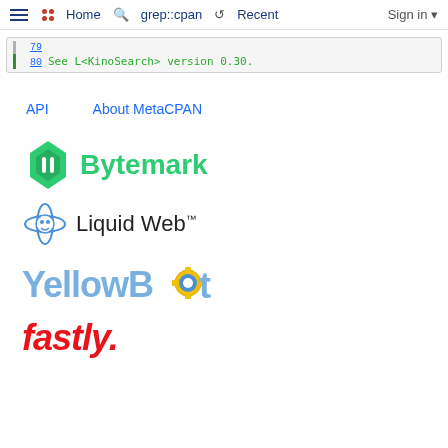≡  ⠿ Home  🔍 grep::cpan  ↺ Recent  Sign in ▾
79
80    See L<KinoSearch> version 0.30.
API    About MetaCPAN
[Figure (logo): Bytemark logo - green geometric diamond shape with text 'Bytemark' in green]
[Figure (logo): Liquid Web logo - orbital rings around a face icon with text 'Liquid Web™']
[Figure (logo): YellowBot logo - blue/silver stylized text 'YellowBot' with yellow gear/robot icon]
[Figure (logo): Fastly logo - red bold text 'fastly.' with period]